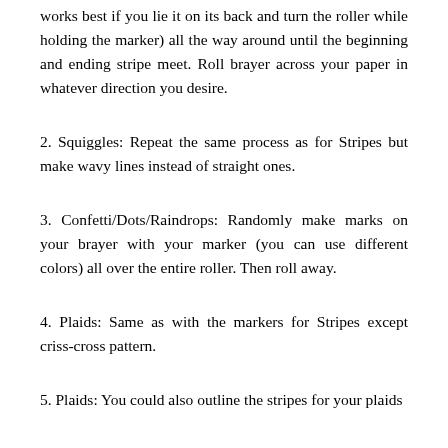works best if you lie it on its back and turn the roller while holding the marker) all the way around until the beginning and ending stripe meet. Roll brayer across your paper in whatever direction you desire.
2. Squiggles: Repeat the same process as for Stripes but make wavy lines instead of straight ones.
3. Confetti/Dots/Raindrops: Randomly make marks on your brayer with your marker (you can use different colors) all over the entire roller. Then roll away.
4. Plaids: Same as with the markers for Stripes except criss-cross pattern.
5. Plaids: You could also outline the stripes for your plaids